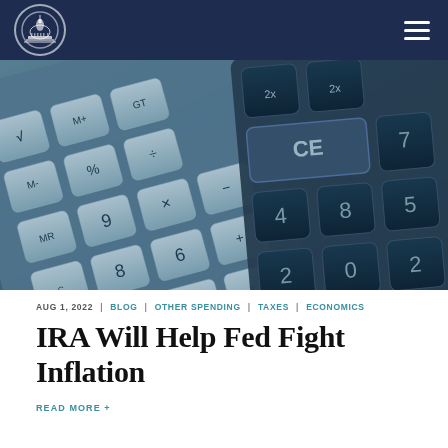[Figure (photo): Close-up photo of two calculators with blue-tinted keys, overlapping each other]
AUG 1, 2022 | BLOG | OTHER SPENDING | TAXES | ECONOMICS
IRA Will Help Fed Fight Inflation
READ MORE +